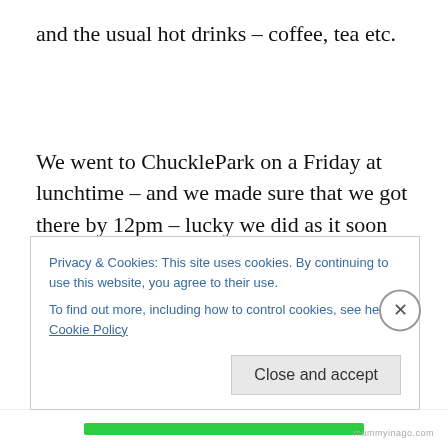and the usual hot drinks – coffee, tea etc.

We went to ChucklePark on a Friday at lunchtime – and we made sure that we got there by 12pm – lucky we did as it soon started to fill up after this time. Most of the boys ordered the Pulled Pork Roll and one guy ordered the Albondigas – the Spanish meatballs served in a hearty vegetable broth. I ordered the Frittata Roll – which was
Privacy & Cookies: This site uses cookies. By continuing to use this website, you agree to their use.
To find out more, including how to control cookies, see here: Cookie Policy